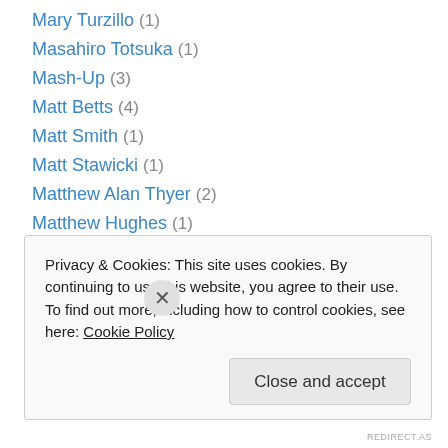Mary Turzillo (1)
Masahiro Totsuka (1)
Mash-Up (3)
Matt Betts (4)
Matt Smith (1)
Matt Stawicki (1)
Matthew Alan Thyer (2)
Matthew Hughes (1)
Matthew Kressel (1)
Matthew Rohr (1)
Maureen F. McHugh (2)
Maurice Broaddus (1)
Max Gladstone (2)
Privacy & Cookies: This site uses cookies. By continuing to use this website, you agree to their use. To find out more, including how to control cookies, see here: Cookie Policy
REDIRECT.AS